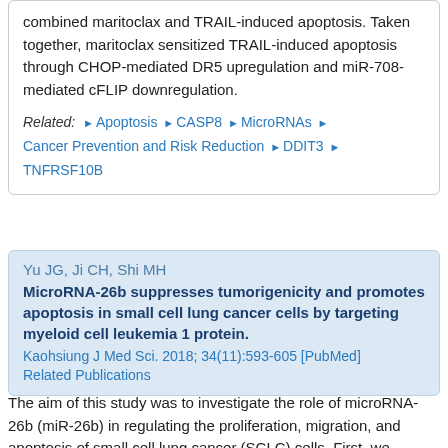combined maritoclax and TRAIL-induced apoptosis. Taken together, maritoclax sensitized TRAIL-induced apoptosis through CHOP-mediated DR5 upregulation and miR-708-mediated cFLIP downregulation.
Related: ► Apoptosis ► CASP8 ► MicroRNAs ► Cancer Prevention and Risk Reduction ► DDIT3 ► TNFRSF10B
Yu JG, Ji CH, Shi MH
MicroRNA-26b suppresses tumorigenicity and promotes apoptosis in small cell lung cancer cells by targeting myeloid cell leukemia 1 protein.
Kaohsiung J Med Sci. 2018; 34(11):593-605 [PubMed]
Related Publications
The aim of this study was to investigate the role of microRNA-26b (miR-26b) in regulating the proliferation, migration, and apoptosis of small cell lung cancer (SCLC) cells. First, we examined the expression level of